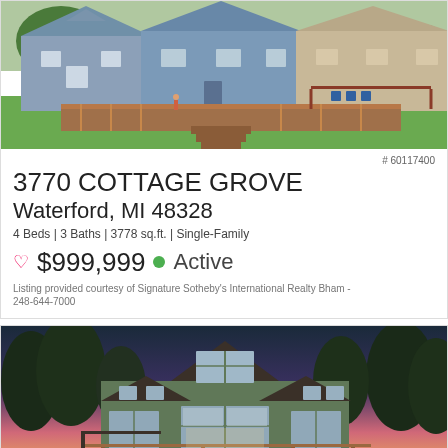[Figure (photo): Exterior photo of a residential home with wood deck, green lawn, neighboring houses visible, daytime.]
# 60117400
3770 COTTAGE GROVE
Waterford, MI 48328
4 Beds | 3 Baths | 3778 sq.ft. | Single-Family
♡ $999,999 • Active
Listing provided courtesy of Signature Sotheby's International Realty Bham - 248-644-7000
[Figure (photo): Exterior photo of a two-story residential home at dusk with large windows, deck, and colorful sky.]